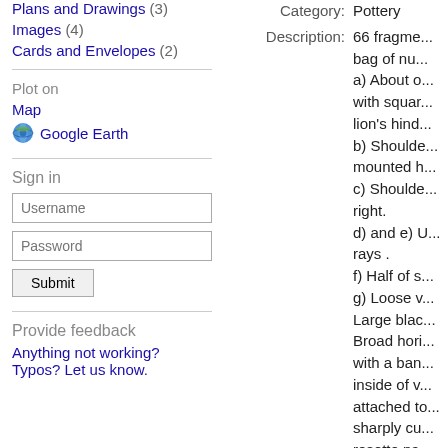Plans and Drawings (3)
Images (4)
Cards and Envelopes (2)
Plot on
Map
Google Earth
Sign in
Username
Password
Submit
Provide feedback
Anything not working? Typos? Let us know.
Category: Pottery
Description: 66 fragme... bag of nu... a) About o... with squar... lion's hind... b) Shoulde... mounted h... c) Shoulde... right. d) and e) U... rays . f) Half of s... g) Loose v... Large blac... Broad hori... with a ban... inside of v... attached to... sharply cu... rosette pa...